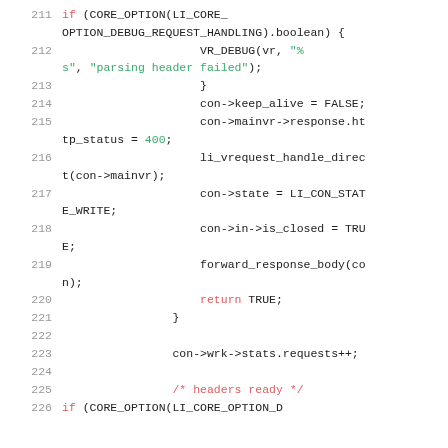[Figure (screenshot): Source code listing showing C code lines 211-225, with syntax highlighting: keywords in red/pink, strings in green, line numbers in gray.]